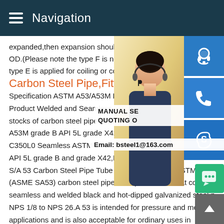Navigation
expanded,then expansion should not exceed OD.(Please note the type F is not used for type E is applied for coiling or cold
Carbon Steel Pipe,Fittings an
Specification ASTM A53/A53M Dimension Product Welded and Seamless Steel Pipe stocks of carbon steel pipe comply with W A53M grade B API 5L grade X42,PSL1 or C350L0 Seamless ASTM A106M grade B API 5L grade B and grade X42,PSL1 or PSL2 .Atlas Steels ASTM S/A 53 Carbon Steel Pipe Tube A53 Carbon Steel ASTM A53 (ASME SA53) carbon steel pipe is a specification that covers seamless and welded black and hot-dipped galvanized steel p NPS 1/8 to NPS 26.A 53 is intended for pressure and mechanics applications and is also acceptable for ordinary uses in
MANUAL SE QUOTING O Email: bsteel1@163.com